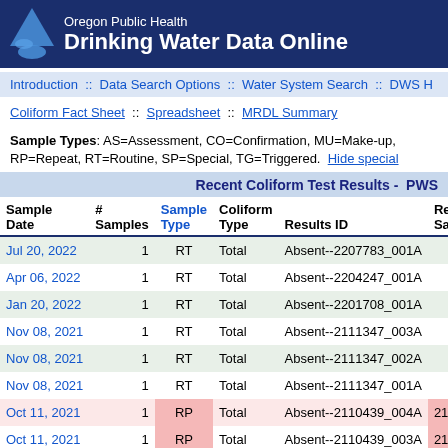Oregon Public Health Drinking Water Data Online
Introduction :: Data Search Options :: Water System Search :: DWS H
Coliform Fact Sheet :: Spreadsheet :: MRDL Summary
Sample Types: AS=Assessment, CO=Confirmation, MU=Make-up, RP=Repeat, RT=Routine, SP=Special, TG=Triggered. Hide special samples
Recent Coliform Test Results - PWS
| Sample Date | # Samples | Sample Type | Coliform Type | Results ID | Re Sa |
| --- | --- | --- | --- | --- | --- |
| Jul 20, 2022 | 1 | RT | Total | Absent--2207783_001A |  |
| Apr 06, 2022 | 1 | RT | Total | Absent--2204247_001A |  |
| Jan 20, 2022 | 1 | RT | Total | Absent--2201708_001A |  |
| Nov 08, 2021 | 1 | RT | Total | Absent--2111347_003A |  |
| Nov 08, 2021 | 1 | RT | Total | Absent--2111347_002A |  |
| Nov 08, 2021 | 1 | RT | Total | Absent--2111347_001A |  |
| Oct 11, 2021 | 1 | RP | Total | Absent--2110439_004A | 21 |
| Oct 11, 2021 | 1 | RP | Total | Absent--2110439_003A | 21 |
| Oct 11, 2021 | 1 | RP | Total | Absent--2110439_002A | 2 |